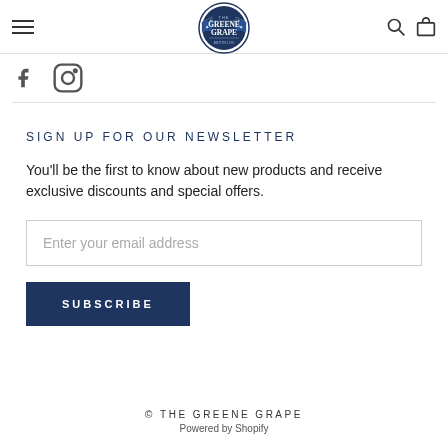The Greene Grape — navigation bar with hamburger menu, logo, search and cart icons
[Figure (logo): The Greene Grape circular badge logo in navy blue]
[Figure (illustration): Social media icons: Facebook and Instagram]
SIGN UP FOR OUR NEWSLETTER
You'll be the first to know about new products and receive exclusive discounts and special offers.
Enter your email address
SUBSCRIBE
© THE GREENE GRAPE
Powered by Shopify